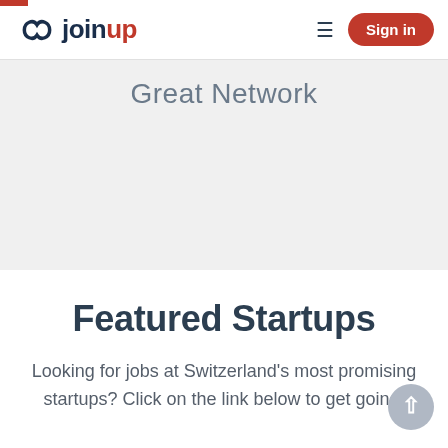joinup — Sign in
Great Network
Featured Startups
Looking for jobs at Switzerland's most promising startups? Click on the link below to get going!